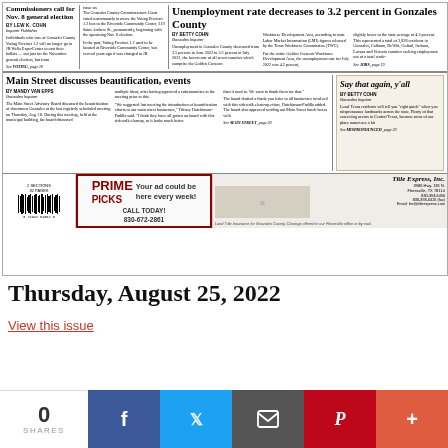[Figure (screenshot): Newspaper front page showing multiple stories: 'Commissioners call for Nov. 8 general election', 'Unemployment rate decreases to 3.2 percent in Gonzales County', 'Main Street discusses beautification, events', 'Say that again, y'all', and advertisements including Prime Picks and Title Express Inc.]
Thursday, August 25, 2022
View this issue
0 SHARES